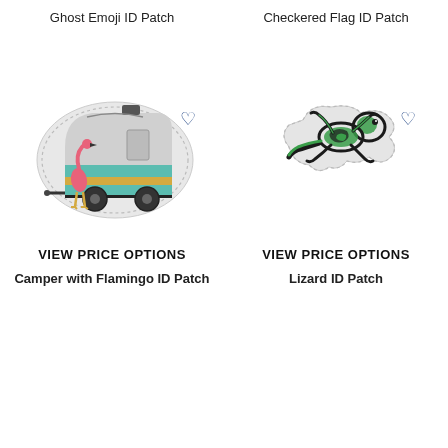Ghost Emoji ID Patch
Checkered Flag ID Patch
[Figure (photo): Embroidered patch of a retro camper trailer with flamingo standing in front, teal and yellow stripes]
[Figure (photo): Embroidered patch in the shape of a lizard/gecko in green and black on white background]
VIEW PRICE OPTIONS
VIEW PRICE OPTIONS
Camper with Flamingo ID Patch
Lizard ID Patch